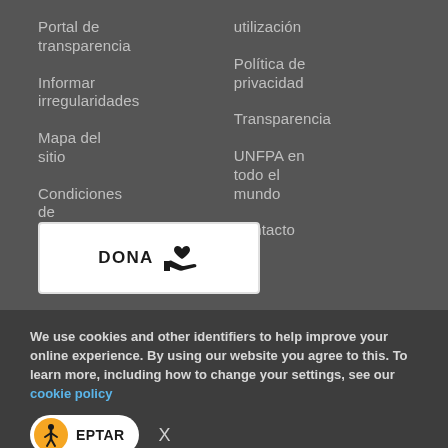Portal de transparencia
Informar irregularidades
Mapa del sitio
Condiciones de
utilización
Política de privacidad
Transparencia
UNFPA en todo el mundo
Contacto
[Figure (other): DONA button with heart icon on a hand, white rectangle button]
We use cookies and other identifiers to help improve your online experience. By using our website you agree to this. To learn more, including how to change your settings, see our cookie policy
[Figure (other): Accept cookie button with orange accessibility icon and EPTAR text, and X close button]